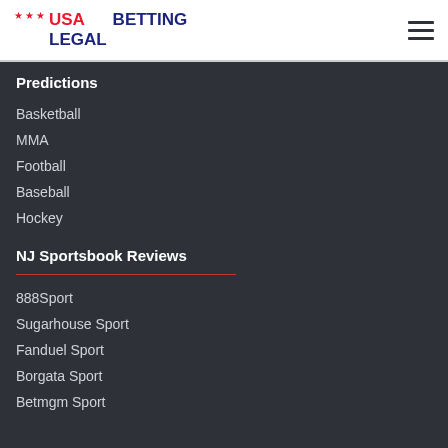USA LEGAL BETTING
Predictions
Basketball
MMA
Football
Baseball
Hockey
NJ Sportsbook Reviews
888Sport
Sugarhouse Sport
Fanduel Sport
Borgata Sport
Betmgm Sport